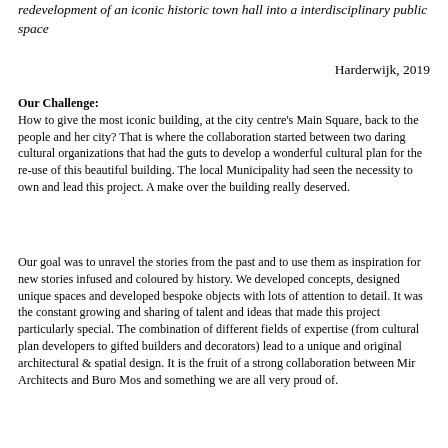redevelopment of an iconic historic town hall into a interdisciplinary public space
Harderwijk, 2019
Our Challenge:
How to give the most iconic building, at the city centre's Main Square, back to the people and her city? That is where the collaboration started between two daring cultural organizations that had the guts to develop a wonderful cultural plan for the re-use of this beautiful building. The local Municipality had seen the necessity to own and lead this project. A make over the building really deserved.
Our goal was to unravel the stories from the past and to use them as inspiration for new stories infused and coloured by history. We developed concepts, designed unique spaces and developed bespoke objects with lots of attention to detail. It was the constant growing and sharing of talent and ideas that made this project particularly special. The combination of different fields of expertise (from cultural plan developers to gifted builders and decorators) lead to a unique and original architectural & spatial design. It is the fruit of a strong collaboration between Mir Architects and Buro Mos and something we are all very proud of.